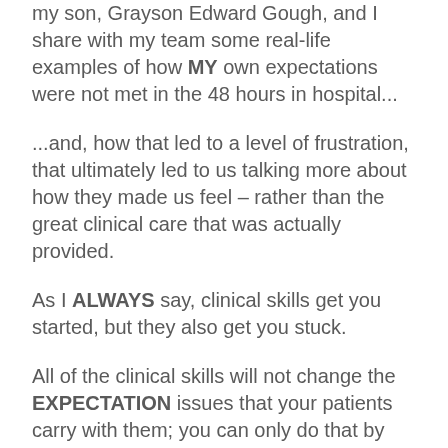my son, Grayson Edward Gough, and I share with my team some real-life examples of how MY own expectations were not met in the 48 hours in hospital...
...and, how that led to a level of frustration, that ultimately led to us talking more about how they made us feel – rather than the great clinical care that was actually provided.
As I ALWAYS say, clinical skills get you started, but they also get you stuck.
All of the clinical skills will not change the EXPECTATION issues that your patients carry with them; you can only do that by